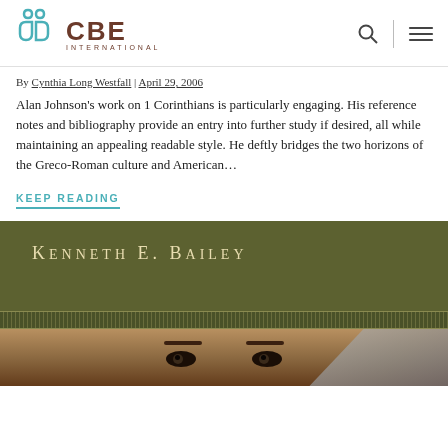[Figure (logo): CBE International logo with teal icon and brown text]
By Cynthia Long Westfall | April 29, 2006
Alan Johnson's work on 1 Corinthians is particularly engaging. His reference notes and bibliography provide an entry into further study if desired, all while maintaining an appealing readable style. He deftly bridges the two horizons of the Greco-Roman culture and American...
KEEP READING
[Figure (photo): Book cover featuring Kenneth E. Bailey as author name in small caps on olive/dark green background, with decorative band and a portrait-style face image below]